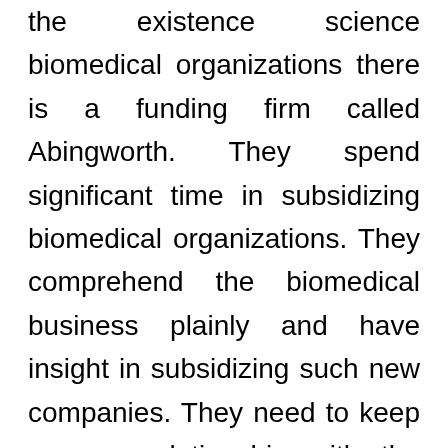the existence science biomedical organizations there is a funding firm called Abingworth. They spend significant time in subsidizing biomedical organizations. They comprehend the biomedical business plainly and have insight in subsidizing such new companies. They need to keep a cozy relationship with the administration of the startup to make them fruitful. You can move toward Abingworth in case you are searching for UK finance for biomedical new businesses or new organizations in that field. They store organizations that foster items and furthermore which work on explicit disease